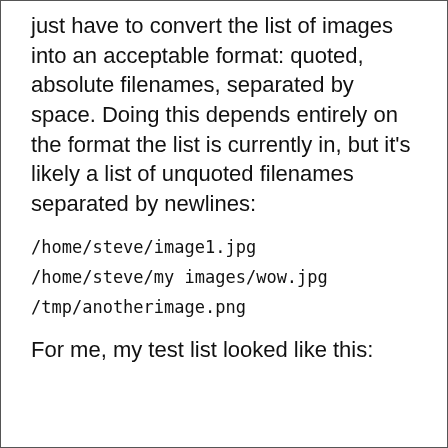just have to convert the list of images into an acceptable format: quoted, absolute filenames, separated by space. Doing this depends entirely on the format the list is currently in, but it's likely a list of unquoted filenames separated by newlines:
/home/steve/image1.jpg
/home/steve/my images/wow.jpg
/tmp/anotherimage.png
For me, my test list looked like this: